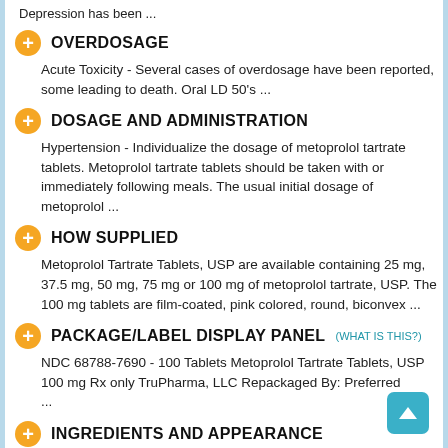Depression has been ...
OVERDOSAGE
Acute Toxicity - Several cases of overdosage have been reported, some leading to death. Oral LD 50's ...
DOSAGE AND ADMINISTRATION
Hypertension - Individualize the dosage of metoprolol tartrate tablets. Metoprolol tartrate tablets should be taken with or immediately following meals. The usual initial dosage of metoprolol ...
HOW SUPPLIED
Metoprolol Tartrate Tablets, USP are available containing 25 mg, 37.5 mg, 50 mg, 75 mg or 100 mg of metoprolol tartrate, USP. The 100 mg tablets are film-coated, pink colored, round, biconvex ...
PACKAGE/LABEL DISPLAY PANEL
NDC 68788-7690 - 100 Tablets Metoprolol Tartrate Tablets, USP 100 mg Rx only TruPharma, LLC Repackaged By: Preferred ...
INGREDIENTS AND APPEARANCE
Product Information